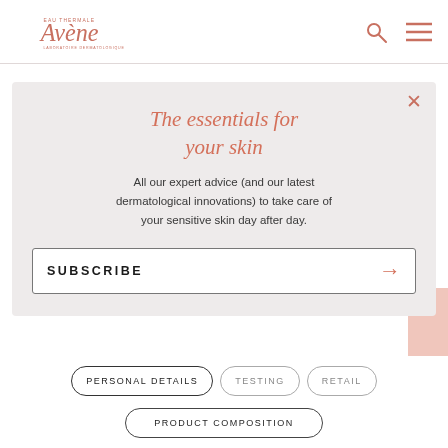Avène — EAU THERMALE LABORATOIRE DERMATOLOGIQUE
[Figure (screenshot): Avène brand website screenshot with FAQ page in background and newsletter subscription popup overlay. Background shows FREQUENTLY ASKED QUESTIONS heading and tagline. Popup modal shows title 'The essentials for your skin' with subscription CTA. Bottom shows category pill buttons: PERSONAL DETAILS, TESTING, RETAIL, PRODUCT COMPOSITION.]
The essentials for your skin
All our expert advice (and our latest dermatological innovations) to take care of your sensitive skin day after day.
SUBSCRIBE
PERSONAL DETAILS
TESTING
RETAIL
PRODUCT COMPOSITION